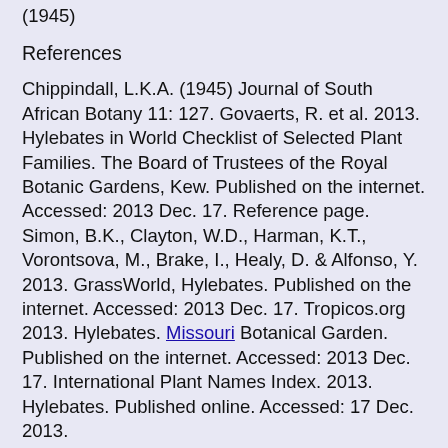(1945)
References
Chippindall, L.K.A. (1945) Journal of South African Botany 11: 127. Govaerts, R. et al. 2013. Hylebates in World Checklist of Selected Plant Families. The Board of Trustees of the Royal Botanic Gardens, Kew. Published on the internet. Accessed: 2013 Dec. 17. Reference page. Simon, B.K., Clayton, W.D., Harman, K.T., Vorontsova, M., Brake, I., Healy, D. & Alfonso, Y. 2013. GrassWorld, Hylebates. Published on the internet. Accessed: 2013 Dec. 17. Tropicos.org 2013. Hylebates. Missouri Botanical Garden. Published on the internet. Accessed: 2013 Dec. 17. International Plant Names Index. 2013. Hylebates. Published online. Accessed: 17 Dec. 2013.
Hylebates is a genus of African plants